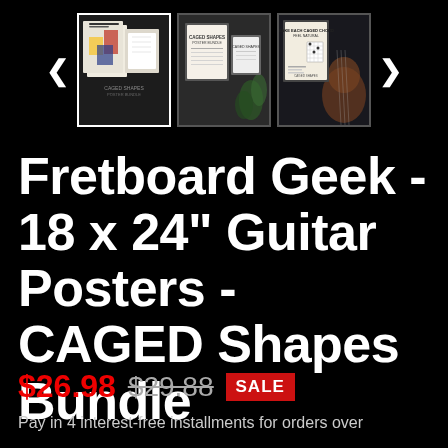[Figure (screenshot): Product thumbnail gallery showing three product images of guitar poster bundles on a black background, with left and right navigation arrows. First thumbnail (active/selected with white border) shows posters with colorful geometric shapes, second shows framed posters near a plant, third shows a framed poster near a guitar.]
Fretboard Geek - 18 x 24" Guitar Posters - CAGED Shapes Bundle
$26.98  $29.88  SALE
Pay in 4 interest-free installments for orders over